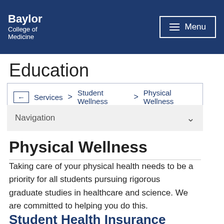Baylor College of Medicine | Menu
Education
Services > Student Wellness > Physical Wellness
Navigation
Physical Wellness
Taking care of your physical health needs to be a priority for all students pursuing rigorous graduate studies in healthcare and science. We are committed to helping you do this.
Student Health Insurance Program